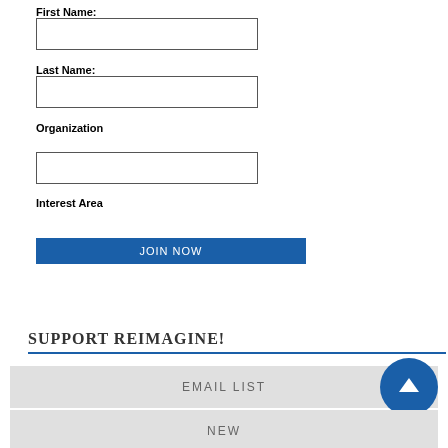First Name:
Last Name:
Organization
Interest Area
JOIN NOW
SUPPORT REIMAGINE!
EMAIL LIST
NEW